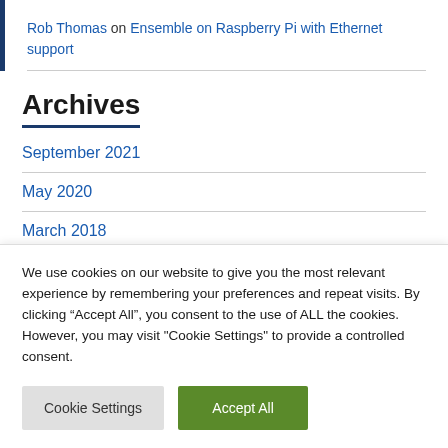Rob Thomas on Ensemble on Raspberry Pi with Ethernet support
Archives
September 2021
May 2020
March 2018
We use cookies on our website to give you the most relevant experience by remembering your preferences and repeat visits. By clicking “Accept All”, you consent to the use of ALL the cookies. However, you may visit "Cookie Settings" to provide a controlled consent.